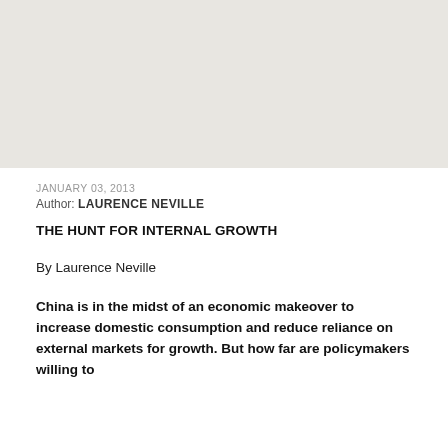[Figure (other): Light gray rectangular image placeholder at top of page]
JANUARY 03, 2013
Author: LAURENCE NEVILLE
THE HUNT FOR INTERNAL GROWTH
By Laurence Neville
China is in the midst of an economic makeover to increase domestic consumption and reduce reliance on external markets for growth. But how far are policymakers willing to